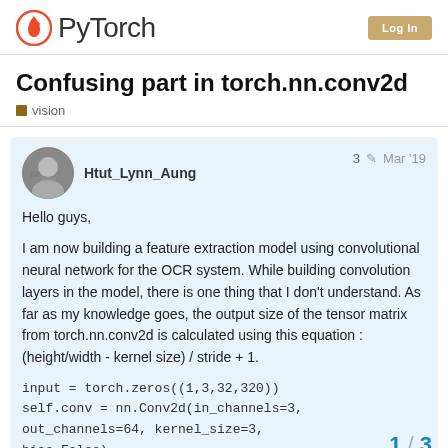PyTorch
Confusing part in torch.nn.conv2d
vision
Htut_Lynn_Aung   3   Mar '19
Hello guys,

I am now building a feature extraction model using convolutional neural network for the OCR system. While building convolution layers in the model, there is one thing that I don't understand. As far as my knowledge goes, the output size of the tensor matrix from torch.nn.conv2d is calculated using this equation : (height/width - kernel size) / stride + 1.
input = torch.zeros((1,3,32,320))
self.conv = nn.Conv2d(in_channels=3,
out_channels=64, kernel_size=3,
bias=False)
1 / 3